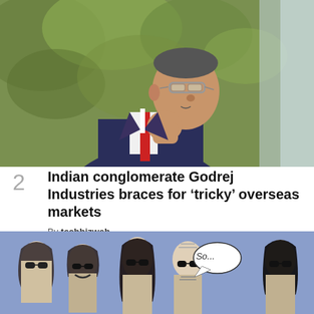[Figure (photo): Elderly Indian businessman in a navy suit and red tie with glasses, photographed in profile against a green blurred background, fist raised near his face in a contemplative pose]
2
Indian conglomerate Godrej Industries braces for ‘tricky’ overseas markets
By techbizweb
[Figure (illustration): Cartoon illustration on a purple/blue background showing five stylized bald and long-haired characters with sunglasses and exaggerated features, one with a speech bubble saying 'So...']